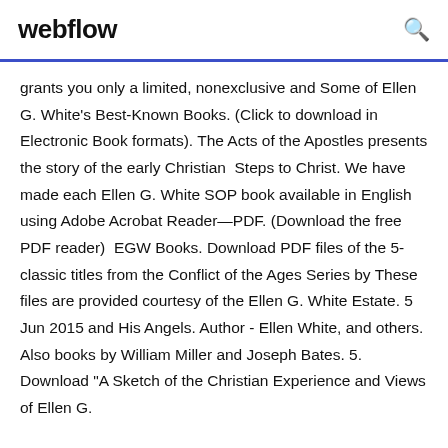webflow
grants you only a limited, nonexclusive and Some of Ellen G. White's Best-Known Books. (Click to download in Electronic Book formats). The Acts of the Apostles presents the story of the early Christian  Steps to Christ. We have made each Ellen G. White SOP book available in English using Adobe Acrobat Reader—PDF. (Download the free PDF reader)  EGW Books. Download PDF files of the 5-classic titles from the Conflict of the Ages Series by These files are provided courtesy of the Ellen G. White Estate. 5 Jun 2015 and His Angels. Author - Ellen White, and others. Also books by William Miller and Joseph Bates. 5. Download "A Sketch of the Christian Experience and Views of Ellen G.